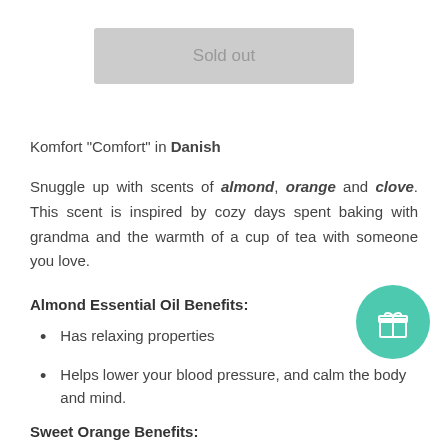Sold out
Komfort "Comfort" in Danish
Snuggle up with scents of almond, orange and clove. This scent is inspired by cozy days spent baking with grandma and the warmth of a cup of tea with someone you love.
Almond Essential Oil Benefits:
Has relaxing properties
Helps lower your blood pressure, and calm the body and mind.
Sweet Orange Benefits:
[Figure (illustration): Teal/green circle with a white gift box icon]